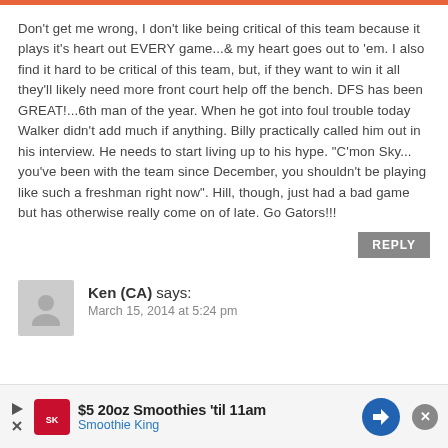Don't get me wrong, I don't like being critical of this team because it plays it's heart out EVERY game...& my heart goes out to 'em. I also find it hard to be critical of this team, but, if they want to win it all they'll likely need more front court help off the bench. DFS has been GREAT!...6th man of the year. When he got into foul trouble today Walker didn't add much if anything. Billy practically called him out in his interview. He needs to start living up to his hype. "C'mon Sky... you've been with the team since December, you shouldn't be playing like such a freshman right now". Hill, though, just had a bad game but has otherwise really come on of late. Go Gators!!!
REPLY
Ken (CA) says:
March 15, 2014 at 5:24 pm
[Figure (other): Advertisement banner for Smoothie King: $5 20oz Smoothies 'til 11am]